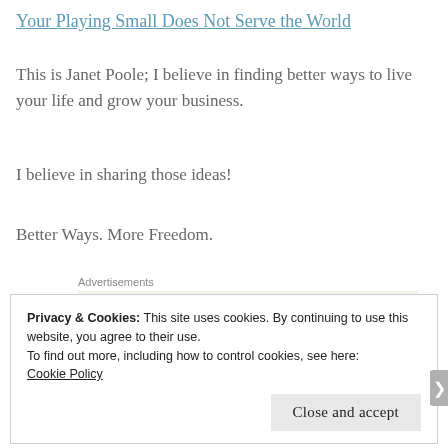Your Playing Small Does Not Serve the World
This is Janet Poole; I believe in finding better ways to live your life and grow your business.
I believe in sharing those ideas!
Better Ways. More Freedom.
[Figure (screenshot): Advertisement banner with beige background showing text 'Professionally designed sites in less...' (truncated)]
Privacy & Cookies: This site uses cookies. By continuing to use this website, you agree to their use.
To find out more, including how to control cookies, see here:
Cookie Policy
Close and accept